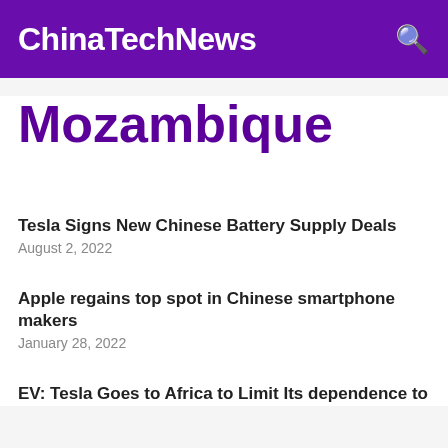ChinaTechNews
Mozambique
Tesla Signs New Chinese Battery Supply Deals
August 2, 2022
Apple regains top spot in Chinese smartphone makers
January 28, 2022
EV: Tesla Goes to Africa to Limit Its dependence to